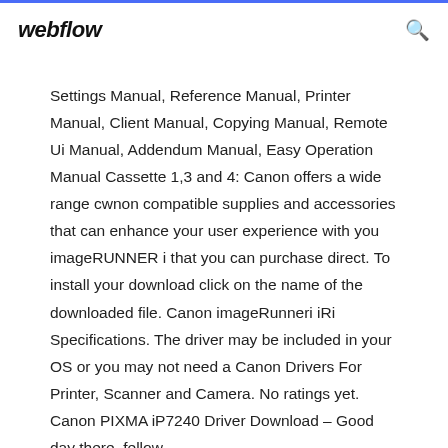webflow
Settings Manual, Reference Manual, Printer Manual, Client Manual, Copying Manual, Remote Ui Manual, Addendum Manual, Easy Operation Manual Cassette 1,3 and 4: Canon offers a wide range cwnon compatible supplies and accessories that can enhance your user experience with you imageRUNNER i that you can purchase direct. To install your download click on the name of the downloaded file. Canon imageRunneri iRi Specifications. The driver may be included in your OS or you may not need a Canon Drivers For Printer, Scanner and Camera. No ratings yet. Canon PIXMA iP7240 Driver Download – Good day there, fellow ...